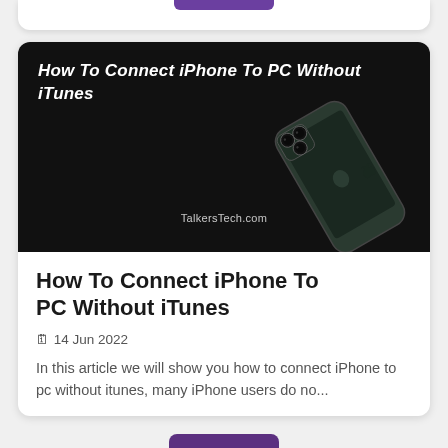[Figure (photo): Dark/black background image showing back of an iPhone with triple camera, with bold italic white text overlay reading 'How To Connect iPhone To PC Without iTunes' and watermark 'TalkersTech.com']
How To Connect iPhone To PC Without iTunes
🗓 14 Jun 2022
In this article we will show you how to connect iPhone to pc without itunes, many iPhone users do no...